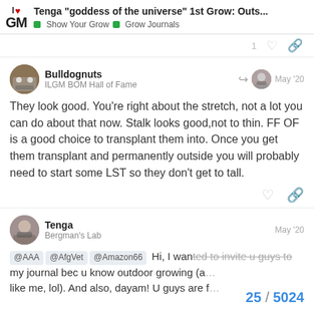Tenga “goddess of the universe” 1st Grow: Outs... | Show Your Grow | Grow Journals
1 [like] [share]
Bulldognuts
ILGM BOM Hall of Fame
May ’20
They look good. You’re right about the stretch, not a lot you can do about that now. Stalk looks good,not to thin. FF OF is a good choice to transplant them into. Once you get them transplant and permanently outside you will probably need to start some LST so they don’t get to tall.
Tenga
Bergman’s Lab
May ’20
@AAA @AfgVet @Amazon66 Hi, I wanted to invite u guys to my journal bec u know outdoor growing (a... like me, lol). And also, dayam! U guys are f...
25 / 5024